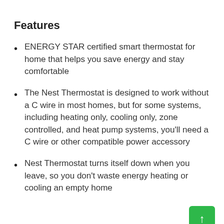Features
ENERGY STAR certified smart thermostat for home that helps you save energy and stay comfortable
The Nest Thermostat is designed to work without a C wire in most homes, but for some systems, including heating only, cooling only, zone controlled, and heat pump systems, you'll need a C wire or other compatible power accessory
Nest Thermostat turns itself down when you leave, so you don't waste energy heating or cooling an empty home